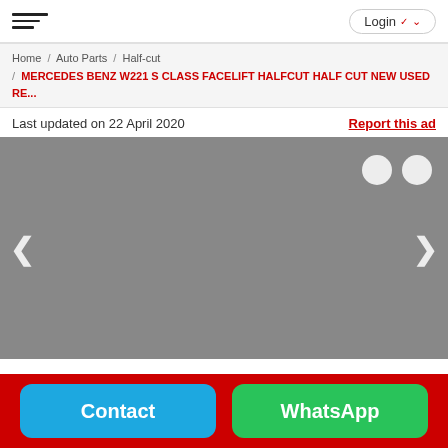Login
Home / Auto Parts / Half-cut / MERCEDES BENZ W221 S CLASS FACELIFT HALFCUT HALF CUT NEW USED RE...
Last updated on 22 April 2020
Report this ad
[Figure (photo): Grey placeholder image for a product listing, with left and right navigation arrows and two white circular indicator dots in the top right corner.]
Contact
WhatsApp